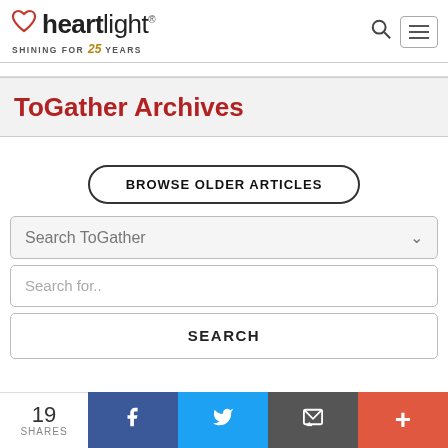[Figure (logo): Heartlight logo with heart icon and tagline 'SHINING FOR 25 YEARS']
ToGather Archives
BROWSE OLDER ARTICLES
Search ToGather
Search for..
SEARCH
19 SHARES  [Facebook] [Twitter] [Email] [More]